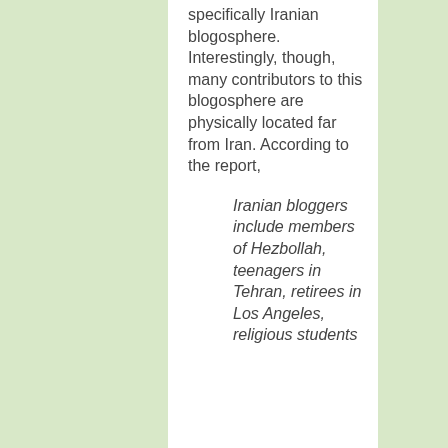specifically Iranian blogosphere. Interestingly, though, many contributors to this blogosphere are physically located far from Iran. According to the report,
Iranian bloggers include members of Hezbollah, teenagers in Tehran, retirees in Los Angeles, religious students